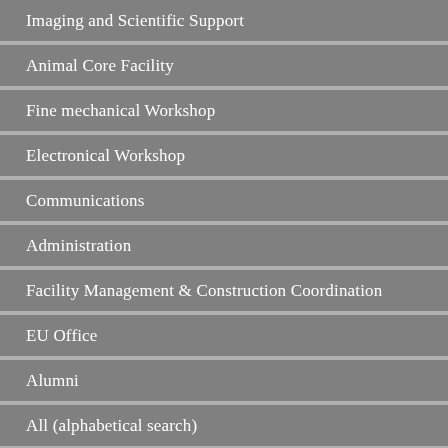Imaging and Scientific Support
Animal Core Facility
Fine mechanical Workshop
Electronical Workshop
Communications
Administration
Facility Management & Construction Coordination
EU Office
Alumni
All (alphabetical search)